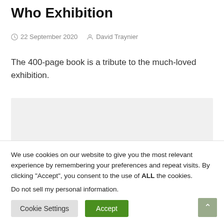Who Exhibition
22 September 2020   David Traynier
The 400-page book is a tribute to the much-loved exhibition.
[Figure (other): Grey placeholder image block]
We use cookies on our website to give you the most relevant experience by remembering your preferences and repeat visits. By clicking “Accept”, you consent to the use of ALL the cookies.
Do not sell my personal information.